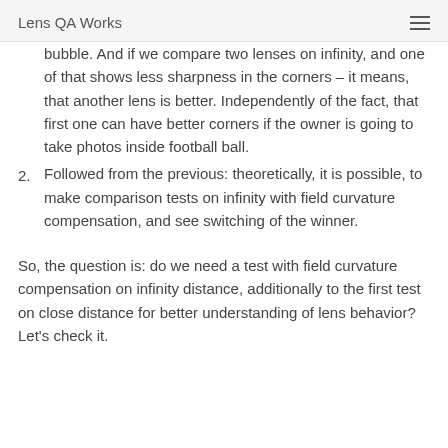Lens QA Works
bubble. And if we compare two lenses on infinity, and one of that shows less sharpness in the corners – it means, that another lens is better. Independently of the fact, that first one can have better corners if the owner is going to take photos inside football ball.
2. Followed from the previous: theoretically, it is possible, to make comparison tests on infinity with field curvature compensation, and see switching of the winner.
So, the question is: do we need a test with field curvature compensation on infinity distance, additionally to the first test on close distance for better understanding of lens behavior? Let's check it.